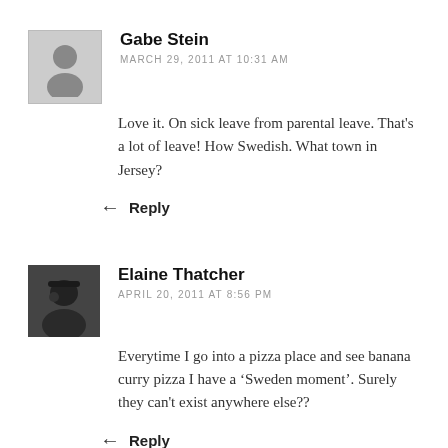[Figure (illustration): Grey placeholder avatar with human silhouette outline]
Gabe Stein
MARCH 29, 2011 AT 10:31 AM
Love it. On sick leave from parental leave. That's a lot of leave! How Swedish. What town in Jersey?
Reply
[Figure (photo): Black and white photo of Elaine Thatcher]
Elaine Thatcher
APRIL 20, 2011 AT 8:56 PM
Everytime I go into a pizza place and see banana curry pizza I have a ‘Sweden moment’. Surely they can't exist anywhere else??
Reply